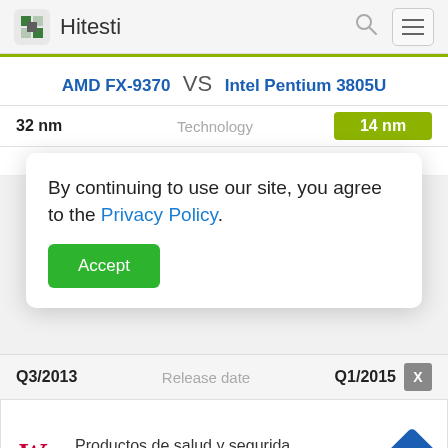Hitesti
AMD FX-9370 VS Intel Pentium 3805U
| Left Value | Spec | Right Value |
| --- | --- | --- |
| 32 nm | Technology | 14 nm |
By continuing to use our site, you agree to the Privacy Policy. [Accept button]
| Left Value | Spec | Right Value |
| --- | --- | --- |
| Q3/2013 | Release date | Q1/2015 |
[Figure (screenshot): Walgreens Photo advertisement banner showing 'Productos de salud y segurida' and 'Walgreens Photo' with navigation arrow icon]